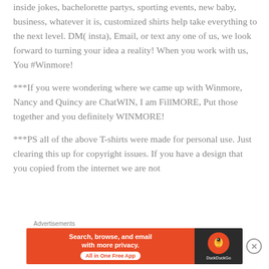inside jokes, bachelorette partys, sporting events, new baby, business, whatever it is, customized shirts help take everything to the next level. DM( insta), Email, or text any one of us, we look forward to turning your idea a reality! When you work with us, You #Winmore!
***If you were wondering where we came up with Winmore, Nancy and Quincy are ChatWIN, I am FillMORE, Put those together and you definitely WINMORE!
***PS all of the above T-shirts were made for personal use. Just clearing this up for copyright issues. If you have a design that you copied from the internet we are not
[Figure (other): Advertisement banner for DuckDuckGo: 'Search, browse, and email with more privacy. All in One Free App' on orange background, with DuckDuckGo logo on dark background. Close button (X) on right side.]